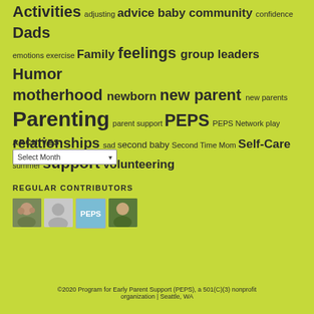Activities adjusting advice baby community confidence Dads emotions exercise Family feelings group leaders Humor motherhood newborn new parent new parents Parenting parent support PEPS PEPS Network play relationships sad second baby Second Time Mom Self-Care summer support volunteering
ARCHIVES
Select Month
REGULAR CONTRIBUTORS
[Figure (photo): Four small avatar/profile images of regular contributors]
©2020 Program for Early Parent Support (PEPS), a 501(C)(3) nonprofit organization | Seattle, WA